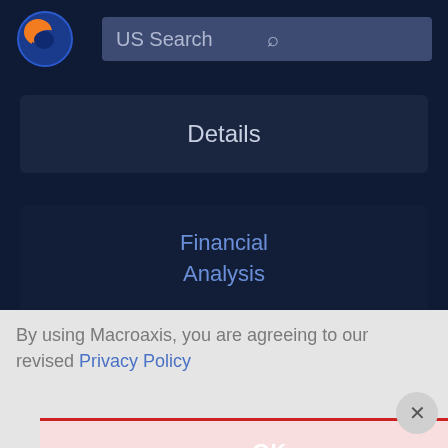[Figure (logo): Macroaxis globe logo — orange and blue circular globe icon]
US Search
Details
Financial Analysis
By using Macroaxis, you are agreeing to our revised Privacy Policy
OK